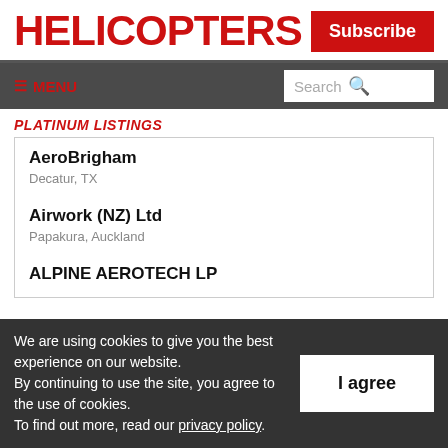HELICOPTERS
Subscribe
≡ MENU
Search
PLATINUM LISTINGS
AeroBrigham
Decatur, TX
Airwork (NZ) Ltd
Papakura, Auckland
ALPINE AEROTECH LP
We are using cookies to give you the best experience on our website.
By continuing to use the site, you agree to the use of cookies.
To find out more, read our privacy policy.
I agree